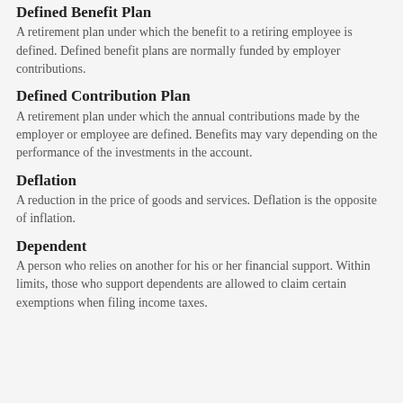Defined Benefit Plan
A retirement plan under which the benefit to a retiring employee is defined. Defined benefit plans are normally funded by employer contributions.
Defined Contribution Plan
A retirement plan under which the annual contributions made by the employer or employee are defined. Benefits may vary depending on the performance of the investments in the account.
Deflation
A reduction in the price of goods and services. Deflation is the opposite of inflation.
Dependent
A person who relies on another for his or her financial support. Within limits, those who support dependents are allowed to claim certain exemptions when filing income taxes.